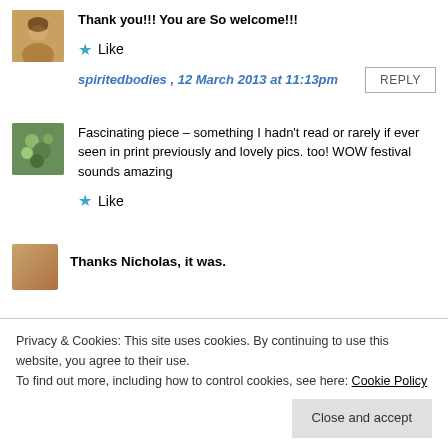Thank you!!! You are So welcome!!!
Like
spiritedbodies , 12 March 2013 at 11:13pm
REPLY
Fascinating piece – something I hadn't read or rarely if ever seen in print previously and lovely pics. too! WOW festival sounds amazing
Like
Privacy & Cookies: This site uses cookies. By continuing to use this website, you agree to their use. To find out more, including how to control cookies, see here: Cookie Policy
Close and accept
Thanks Nicholas, it was.